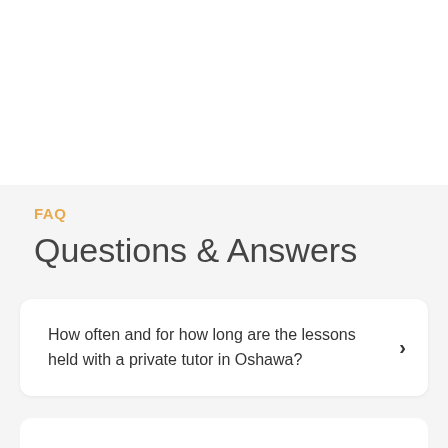FAQ
Questions & Answers
How often and for how long are the lessons held with a private tutor in Oshawa?